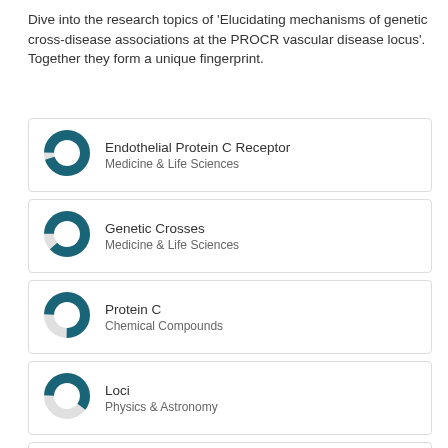Dive into the research topics of 'Elucidating mechanisms of genetic cross-disease associations at the PROCR vascular disease locus'. Together they form a unique fingerprint.
[Figure (donut-chart): Donut chart nearly fully filled (~95%) in dark teal for Endothelial Protein C Receptor]
Endothelial Protein C Receptor
Medicine & Life Sciences
[Figure (donut-chart): Donut chart nearly fully filled (~90%) in dark teal for Genetic Crosses]
Genetic Crosses
Medicine & Life Sciences
[Figure (donut-chart): Donut chart about 75% filled in dark teal for Protein C]
Protein C
Chemical Compounds
[Figure (donut-chart): Donut chart about 60% filled in dark teal for Loci]
Loci
Physics & Astronomy
[Figure (donut-chart): Donut chart about 50% filled in dark teal for Vascular Diseases]
Vascular Diseases
Medicine & Life Sciences